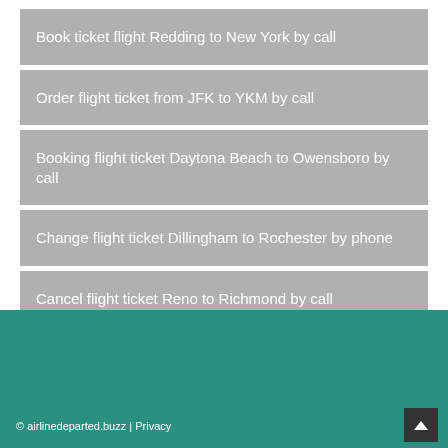Book ticket flight Redding to New York by call
Order flight ticket from JFK to YKM by call
Booking flight ticket Daytona Beach to Owensboro by call
Change flight ticket Dillingham to Rochester by phone
Cancel flight ticket Reno to Richmond by call
© airlinedeparted.buzz | Privacy